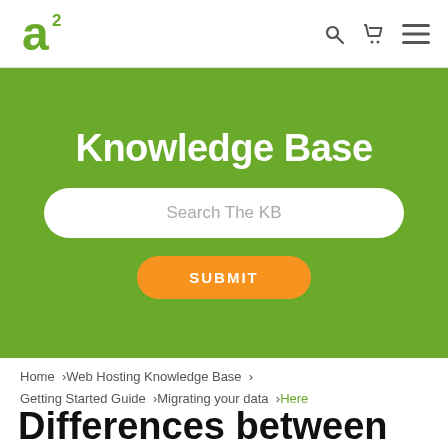[Figure (logo): A2 Hosting green logo icon]
Knowledge Base
Search The KB
SUBMIT
Home  >Web Hosting Knowledge Base  >  Getting Started Guide  >Migrating your data  >Here
Differences between